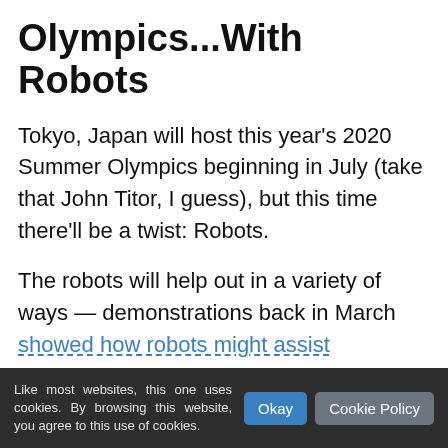Olympics...With Robots
Tokyo, Japan will host this year's 2020 Summer Olympics beginning in July (take that John Titor, I guess), but this time there'll be a twist: Robots.
The robots will help out in a variety of ways — demonstrations back in March showed how robots might assist individuals in wheelchairs, or serve drinks to spectators. Toyota even demoed a robotic avatar that people might use to “virtually” experience the Olympics if they can't visit in person.
Here’s a look at some of the other robots Toyota
Like most websites, this one uses cookies. By browsing this website, you agree to this use of cookies.